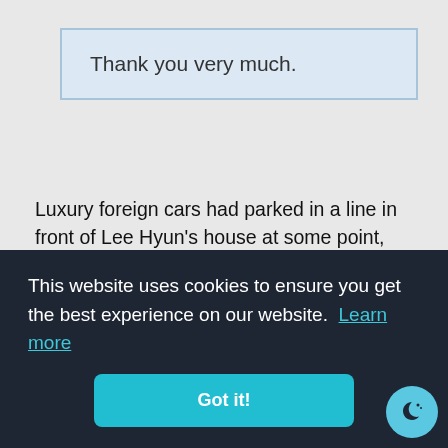Thank you very much.
Luxury foreign cars had parked in a line in front of Lee Hyun's house at some point, unbeknownst to him. Seo-yoon's bodyguards had come and had been on standby. Bodyguards wearing black suits opened a car's back door. The chickens and Dogmeat boarded the back seat. The chickens and dog were enjoying the luxury of boarding a car worth hundreds of millions of Won that even came with escorts and a chauffeur!
This website uses cookies to ensure you get the best experience on our website. Learn more
Got it!